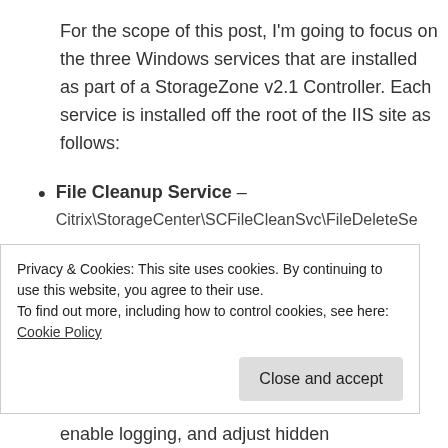For the scope of this post, I'm going to focus on the three Windows services that are installed as part of a StorageZone v2.1 Controller. Each service is installed off the root of the IIS site as follows:
File Cleanup Service – Citrix\StorageCenter\SCFileCleanSvc\FileDeleteSe...
File Copy Service – Citrix\StorageCenter\SCFileCopySvc\FileCopyServ...
Management Service – ...
Privacy & Cookies: This site uses cookies. By continuing to use this website, you agree to their use.
To find out more, including how to control cookies, see here: Cookie Policy
[Close and accept]
enable logging, and adjust hidden